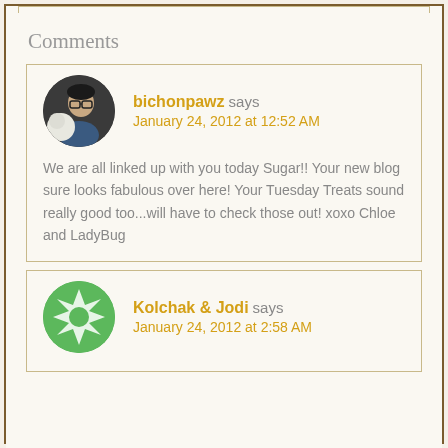Comments
bichonpawz says
January 24, 2012 at 12:52 AM

We are all linked up with you today Sugar!! Your new blog sure looks fabulous over here! Your Tuesday Treats sound really good too...will have to check those out! xoxo Chloe and LadyBug
Kolchak & Jodi says
January 24, 2012 at 2:58 AM